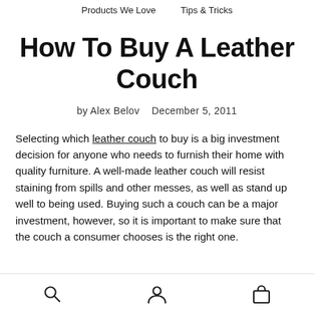Products We Love    Tips & Tricks
How To Buy A Leather Couch
by Alex Belov   December 5, 2011
Selecting which leather couch to buy is a big investment decision for anyone who needs to furnish their home with quality furniture. A well-made leather couch will resist staining from spills and other messes, as well as stand up well to being used. Buying such a couch can be a major investment, however, so it is important to make sure that the couch a consumer chooses is the right one.